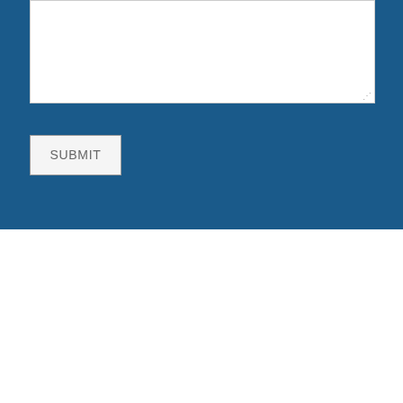[Figure (screenshot): A web form section with a white textarea input field on a dark blue background, and a SUBMIT button below it. The bottom half of the page is white/blank.]